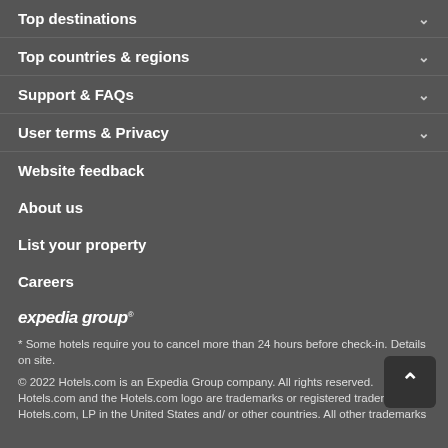Top destinations
Top countries & regions
Support & FAQs
User terms & Privacy
Website feedback
About us
List your property
Careers
[Figure (logo): Expedia Group logo in white italic text]
* Some hotels require you to cancel more than 24 hours before check-in. Details on site.
© 2022 Hotels.com is an Expedia Group company. All rights reserved.
Hotels.com and the Hotels.com logo are trademarks or registered trademarks of Hotels.com, LP in the United States and/ or other countries. All other trademarks